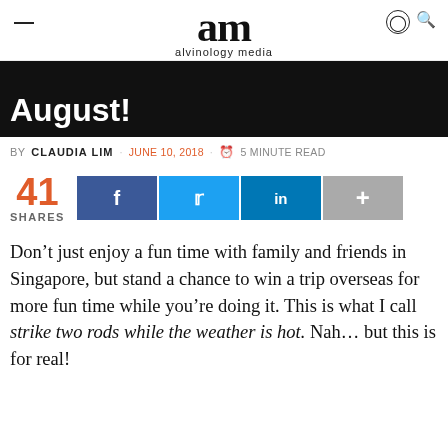alvinology media
August!
BY CLAUDIA LIM · JUNE 10, 2018 · 5 MINUTE READ
[Figure (infographic): Social share bar showing 41 shares with Facebook, Twitter, LinkedIn, and more buttons]
Don't just enjoy a fun time with family and friends in Singapore, but stand a chance to win a trip overseas for more fun time while you're doing it. This is what I call strike two rods while the weather is hot. Nah… but this is for real!